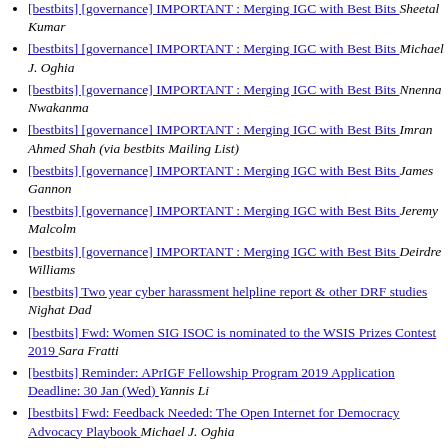[bestbits] [governance] IMPORTANT : Merging IGC with Best Bits  Sheetal Kumar
[bestbits] [governance] IMPORTANT : Merging IGC with Best Bits  Michael J. Oghia
[bestbits] [governance] IMPORTANT : Merging IGC with Best Bits  Nnenna Nwakanma
[bestbits] [governance] IMPORTANT : Merging IGC with Best Bits  Imran Ahmed Shah (via bestbits Mailing List)
[bestbits] [governance] IMPORTANT : Merging IGC with Best Bits  James Gannon
[bestbits] [governance] IMPORTANT : Merging IGC with Best Bits  Jeremy Malcolm
[bestbits] [governance] IMPORTANT : Merging IGC with Best Bits  Deirdre Williams
[bestbits] Two year cyber harassment helpline report & other DRF studies  Nighat Dad
[bestbits] Fwd: Women SIG ISOC is nominated to the WSIS Prizes Contest 2019  Sara Fratti
[bestbits] Reminder: APrIGF Fellowship Program 2019 Application Deadline: 30 Jan (Wed)  Yannis Li
[bestbits] Fwd: Feedback Needed: The Open Internet for Democracy Advocacy Playbook  Michael J. Oghia
[bestbits] Two CFPs for academic conference  Dmitry Epstein
[bestbits] [governance] IMPORTANT : Merging IGC with Best Bits  Sheetal Kumar